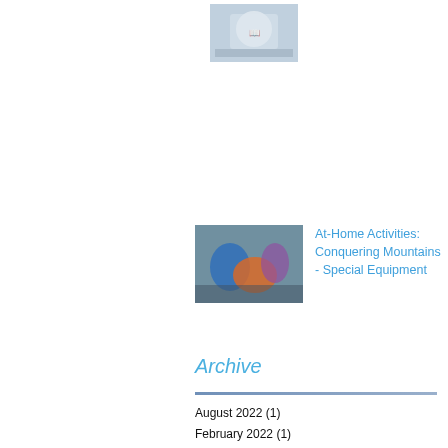[Figure (illustration): Small thumbnail image at top, appears to show a book cover or illustration with blue/grey tones]
[Figure (photo): Thumbnail photo of colorful climbing gear or mountain equipment, showing blue and orange colors]
At-Home Activities: Conquering Mountains - Special Equipment
Archive
August 2022 (1)
February 2022 (1)
May 2021 (5)
April 2021 (4)
March 2021 (4)
February 2021 (4)
January 2021 (6)
December 2020 (1)
November 2020 (5)